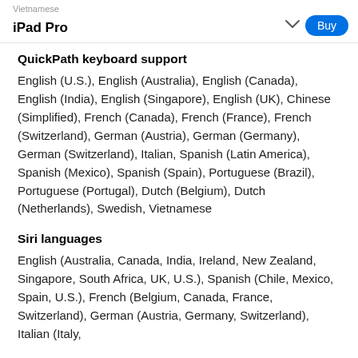Vietnamese
iPad Pro
QuickPath keyboard support
English (U.S.), English (Australia), English (Canada), English (India), English (Singapore), English (UK), Chinese (Simplified), French (Canada), French (France), French (Switzerland), German (Austria), German (Germany), German (Switzerland), Italian, Spanish (Latin America), Spanish (Mexico), Spanish (Spain), Portuguese (Brazil), Portuguese (Portugal), Dutch (Belgium), Dutch (Netherlands), Swedish, Vietnamese
Siri languages
English (Australia, Canada, India, Ireland, New Zealand, Singapore, South Africa, UK, U.S.), Spanish (Chile, Mexico, Spain, U.S.), French (Belgium, Canada, France, Switzerland), German (Austria, Germany, Switzerland), Italian (Italy,